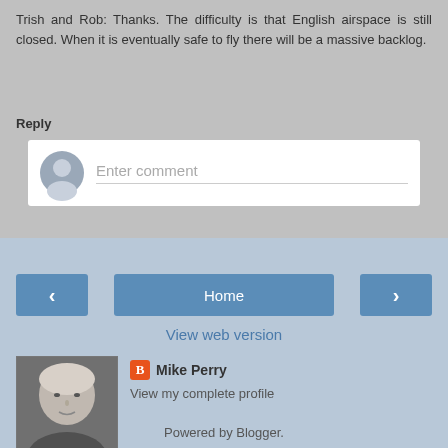Trish and Rob: Thanks. The difficulty is that English airspace is still closed. When it is eventually safe to fly there will be a massive backlog.
Reply
Enter comment
Home
View web version
Mike Perry
View my complete profile
Powered by Blogger.